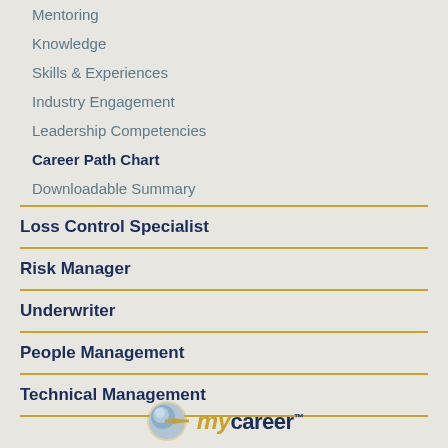Mentoring
Knowledge
Skills & Experiences
Industry Engagement
Leadership Competencies
Career Path Chart
Downloadable Summary
Loss Control Specialist
Risk Manager
Underwriter
People Management
Technical Management
[Figure (logo): mycareer logo with globe icon]